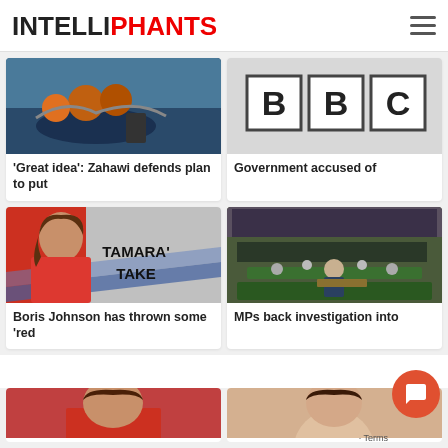INTELLIPHANTS
[Figure (photo): People on a boat with orange life jackets, outboard motor visible]
[Figure (photo): BBC logo sign on a building]
'Great idea': Zahawi defends plan to put
Government accused of
[Figure (photo): Tamara's Take news segment thumbnail showing woman in red with bold text]
[Figure (photo): UK Parliament chamber packed with MPs]
Boris Johnson has thrown some 'red
MPs back investigation into
[Figure (photo): Partial image of a person, bottom row left]
[Figure (photo): Partial image of a person, bottom row right]